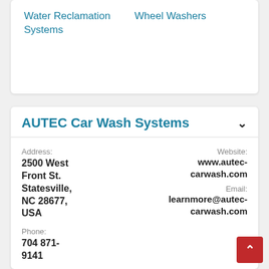Water Reclamation Systems	Wheel Washers
AUTEC Car Wash Systems
Address: 2500 West Front St. Statesville, NC 28677, USA
Phone: 704 871-9141
Contact Name: Madi Riddle
Toll free: 800 438-3028
Fax: 704 871-
Website: www.autec-carwash.com
Email: learnmore@autec-carwash.com